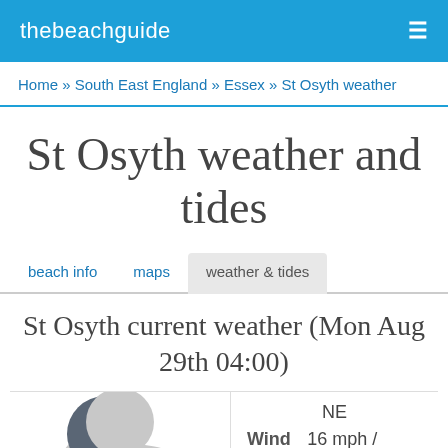thebeachguide
Home » South East England » Essex » St Osyth weather
St Osyth weather and tides
beach info   maps   weather & tides
St Osyth current weather (Mon Aug 29th 04:00)
NE
Wind   16 mph /